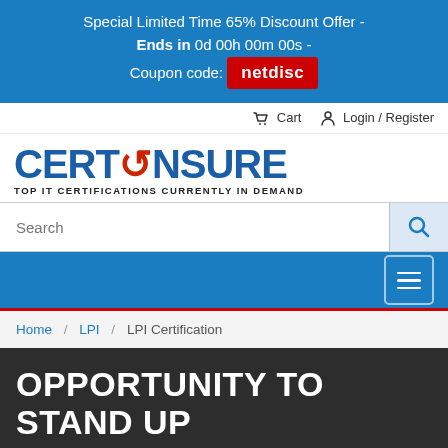Special Limited Time 65% Discount Offer - Ends in 0d 00h 00m 00s - Coupon code: netdisc
Cart   Login / Register
[Figure (logo): CertEnsure logo with tagline TOP IT CERTIFICATIONS CURRENTLY IN DEMAND]
Search
Navigation menu
Home / LPI / LPI Certification
OPPORTUNITY TO STAND UP IN THE CROWD